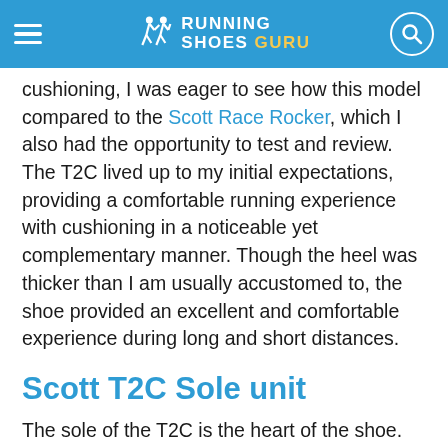RUNNING SHOES GURU
cushioning, I was eager to see how this model compared to the Scott Race Rocker, which I also had the opportunity to test and review. The T2C lived up to my initial expectations, providing a comfortable running experience with cushioning in a noticeable yet complementary manner. Though the heel was thicker than I am usually accustomed to, the shoe provided an excellent and comfortable experience during long and short distances.
Scott T2C Sole unit
The sole of the T2C is the heart of the shoe. Featuring a rocker design, the shoe helps promote